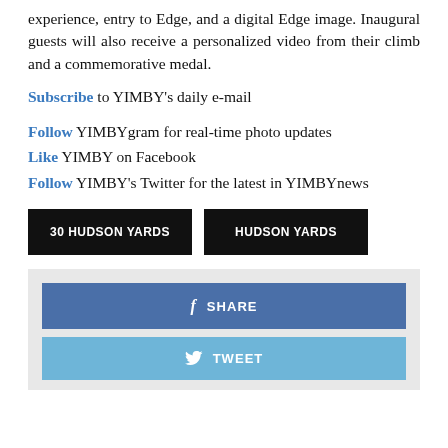experience, entry to Edge, and a digital Edge image. Inaugural guests will also receive a personalized video from their climb and a commemorative medal.
Subscribe to YIMBY's daily e-mail
Follow YIMBYgram for real-time photo updates
Like YIMBY on Facebook
Follow YIMBY's Twitter for the latest in YIMBYnews
30 HUDSON YARDS   HUDSON YARDS
[Figure (infographic): Facebook SHARE button (blue) and Twitter TWEET button (light blue) social sharing buttons inside a light grey box]